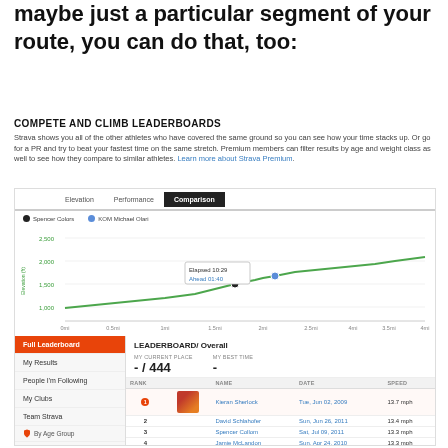maybe just a particular segment of your route, you can do that, too:
COMPETE AND CLIMB LEADERBOARDS
Strava shows you all of the other athletes who have covered the same ground so you can see how your time stacks up. Or go for a PR and try to beat your fastest time on the same stretch. Premium members can filter results by age and weight class as well to see how they compare to similar athletes. Learn more about Strava Premium.
[Figure (screenshot): Strava segment comparison screenshot showing Elevation vs Performance vs Comparison tabs, an elevation line chart with two athletes (Spencer Colors and KOM Michael Olari), a tooltip showing Elapsed 10:29 and Ahead 01:40, and below it a leaderboard panel with Full Leaderboard selected, showing Overall leaderboard with -/444 current place and a table listing Kieran Sherlock (Tue, Jun 02, 2009, 13.7 mph), David Schlahofer (Sun, Jun 26, 2011, 13.4 mph), Spencer Collom (Sat, Jul 09, 2011, 13.3 mph), Jamie McLandon (Sun, Apr 24, 2010, 13.3 mph)]